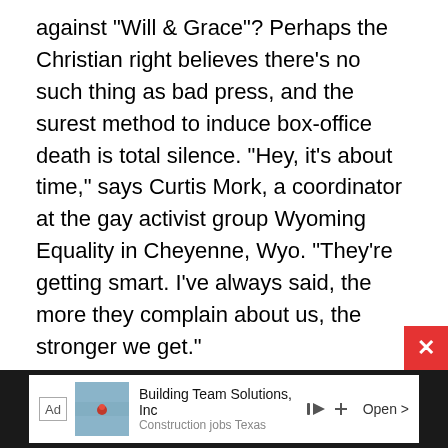against "Will & Grace"? Perhaps the Christian right believes there's no such thing as bad press, and the surest method to induce box-office death is total silence. "Hey, it's about time," says Curtis Mork, a coordinator at the gay activist group Wyoming Equality in Cheyenne, Wyo. "They're getting smart. I've always said, the more they complain about us, the stronger we get."
Of course, predicting how a film like "Brokeback Mountain" will affect the national consciousness before it comes out is a dicey game at best. "Fahrenheit 9/11" and "Passion" (and for that matter, "Last Temptation")
[Figure (screenshot): Advertisement bar at the bottom: Building Team Solutions, Inc - Construction jobs Texas, with a map thumbnail showing Texas, an Ad label, and an Open button.]